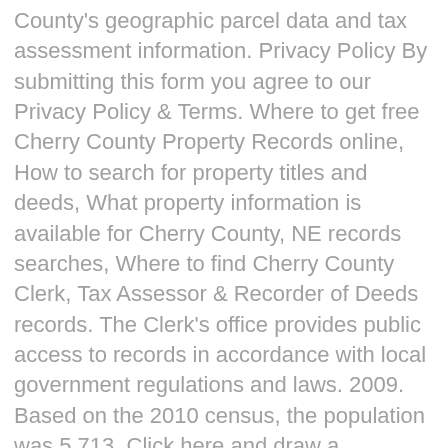County's geographic parcel data and tax assessment information. Privacy Policy By submitting this form you agree to our Privacy Policy & Terms. Where to get free Cherry County Property Records online, How to search for property titles and deeds, What property information is available for Cherry County, NE records searches, Where to find Cherry County Clerk, Tax Assessor & Recorder of Deeds records. The Clerk's office provides public access to records in accordance with local government regulations and laws. 2009. Based on the 2010 census, the population was 5,713. Click here and draw a rectangle over the map to precisely define the search area. The Cherry County Property Records Search (Nebraska) links below open in a new window and take you to third party websites that provide access to Cherry County public records. Horry County Government's parcel GIS application. The GIS map provides parcel boundaries, acreage, and ownership information sourced from the Cherry County, NE assessor. View Cherry County Assessor home page, including name.